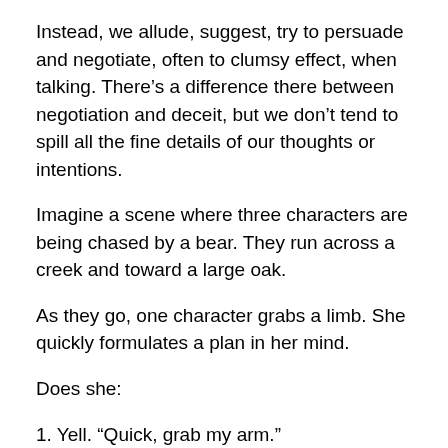Instead, we allude, suggest, try to persuade and negotiate, often to clumsy effect, when talking. There’s a difference there between negotiation and deceit, but we don’t tend to spill all the fine details of our thoughts or intentions.
Imagine a scene where three characters are being chased by a bear. They run across a creek and toward a large oak.
As they go, one character grabs a limb. She quickly formulates a plan in her mind.
Does she:
1. Yell. “Quick, grab my arm.”
or
2. does she shout “Here! Take my arm! I’ll pull you up after